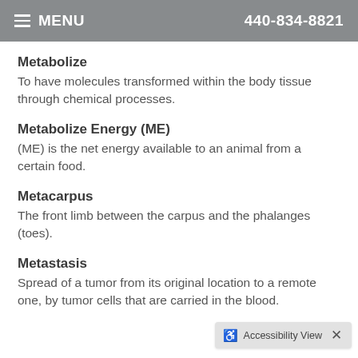MENU  440-834-8821
Metabolize
To have molecules transformed within the body tissue through chemical processes.
Metabolize Energy (ME)
(ME) is the net energy available to an animal from a certain food.
Metacarpus
The front limb between the carpus and the phalanges (toes).
Metastasis
Spread of a tumor from its original location to a remote one, by tumor cells that are carried in the blood.